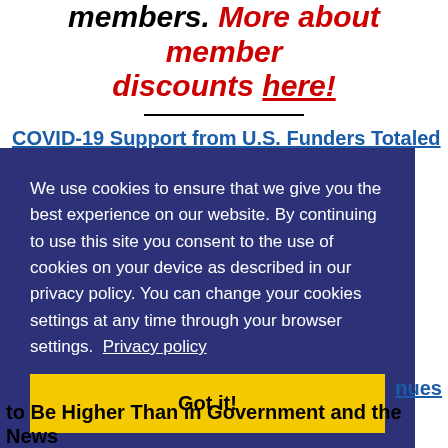members. More about member discounts here!
COVID-19 Support from U.S. Funders Totaled $1 Billion in 2021
We use cookies to ensure that we give you the best experience on our website. By continuing to use this site you consent to the use of cookies on your device as described in our privacy policy. You can change your cookies settings at any time through your browser settings. Privacy policy
Got it!
nues to Be Higher Than in Government and the News